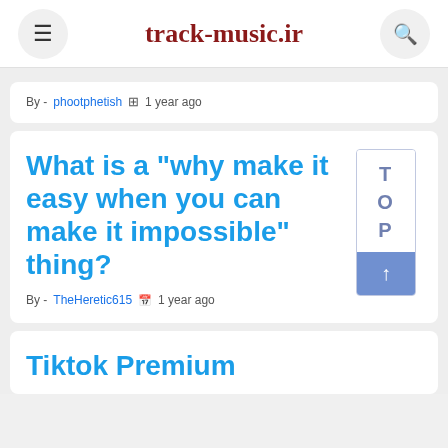track-music.ir
By - phootphetish  1 year ago
What is a "why make it easy when you can make it impossible" thing?
By - TheHeretic615  1 year ago
Tiktok Premium